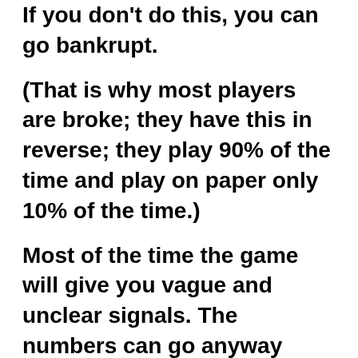If you don't do this, you can go bankrupt. (That is why most players are broke; they have this in reverse; they play 90% of the time and play on paper only 10% of the time.) Most of the time the game will give you vague and unclear signals. The numbers can go anyway most of the time. What you do then is play on paper; this